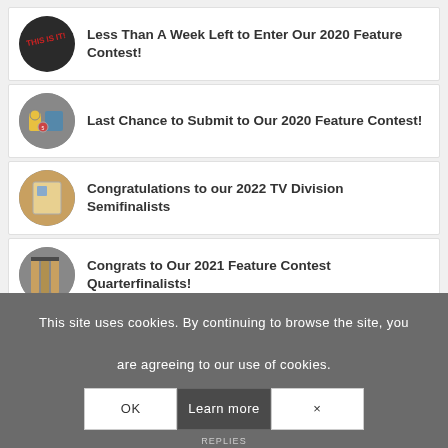Less Than A Week Left to Enter Our 2020 Feature Contest!
Last Chance to Submit to Our 2020 Feature Contest!
Congratulations to our 2022 TV Division Semifinalists
Congrats to Our 2021 Feature Contest Quarterfinalists!
This site uses cookies. By continuing to browse the site, you are agreeing to our use of cookies.
OK
Learn more
×
REPLIES